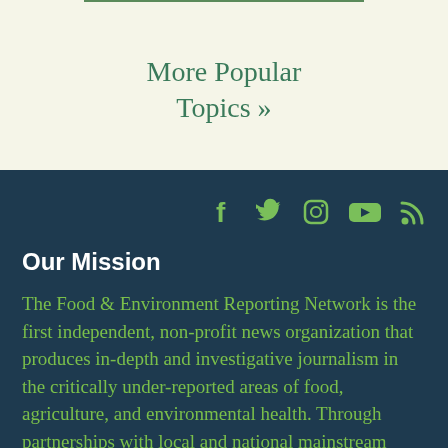More Popular Topics »
[Figure (infographic): Social media icons: Facebook, Twitter, Instagram, YouTube, RSS feed]
Our Mission
The Food & Environment Reporting Network is the first independent, non-profit news organization that produces in-depth and investigative journalism in the critically under-reported areas of food, agriculture, and environmental health. Through partnerships with local and national mainstream media outlets